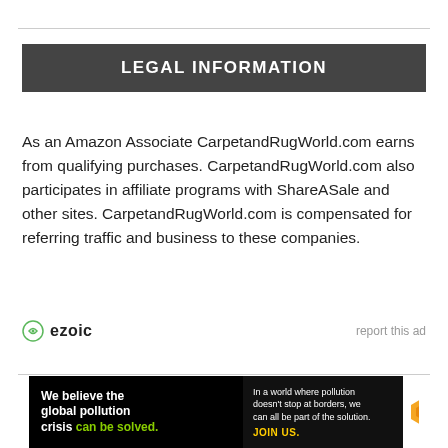LEGAL INFORMATION
As an Amazon Associate CarpetandRugWorld.com earns from qualifying purchases. CarpetandRugWorld.com also participates in affiliate programs with ShareASale and other sites. CarpetandRugWorld.com is compensated for referring traffic and business to these companies.
[Figure (logo): Ezoic logo with circular icon and text 'ezoic', alongside 'report this ad' link]
Home   Blog   Privacy Policy
[Figure (infographic): Pure Earth ad banner: 'We believe the global pollution crisis can be solved.' with tagline and JOIN US call to action, Pure Earth logo on right]